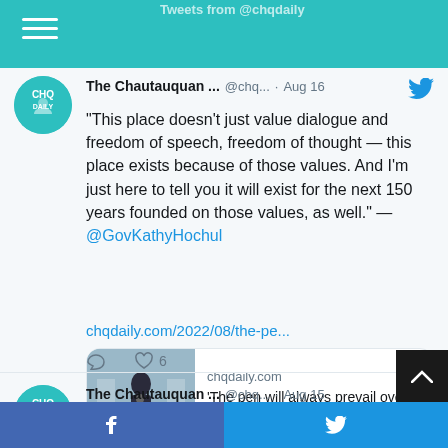Tweets from @chqdaily
The Chautauquan ... @chq... · Aug 16
"This place doesn't just value dialogue and freedom of speech, freedom of thought — this place exists because of those values. And I'm just here to tell you it will exist for the next 150 years founded on those values, as well." — @GovKathyHochul
chqdaily.com/2022/08/the-pe...
[Figure (screenshot): Link preview card showing chqdaily.com article 'The pen will always prevail over the knife' — Hochul ... with a photo of a person at a podium]
The Chautauquan ... @chq... · Aug 15
"The Amphitheater, this stage, is a holy pla... to reclaim this space and time a